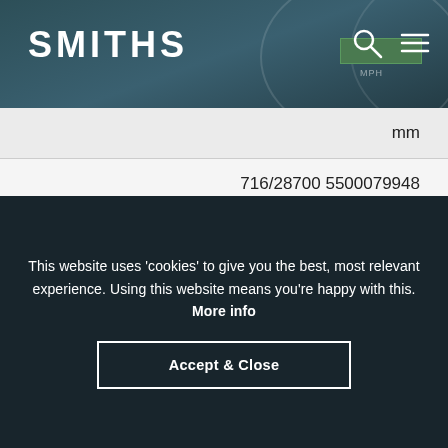SMITHS
mm
716/28700 5500079948
TB5532-047
IND
This website uses 'cookies' to give you the best, most relevant experience. Using this website means you're happy with this. More info
Accept & Close